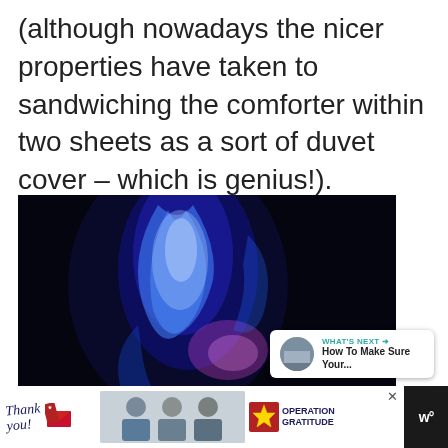(although nowadays the nicer properties have taken to sandwiching the comforter within two sheets as a sort of duvet cover – which is genius!).
[Figure (photo): Dark blue glowing flame-like light art on black background with text overlay 'HOW TO SEARCH FOR' at the bottom]
[Figure (infographic): Like button (teal heart icon), count of 1, and share button on the right side of the image]
[Figure (infographic): What's Next widget showing thumbnail and title 'How To Make Sure Your...']
[Figure (photo): Advertisement banner at bottom: Operation Gratitude thank you ad with people in masks holding items, with close button]